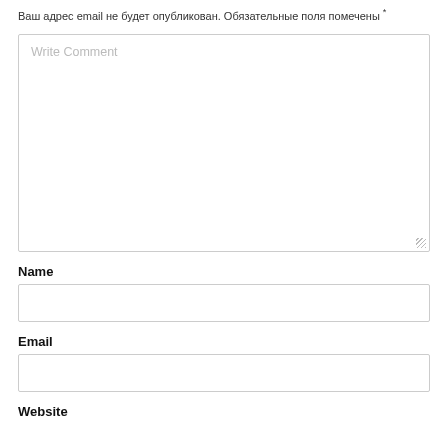Ваш адрес email не будет опубликован. Обязательные поля помечены *
[Figure (screenshot): Large textarea with placeholder text 'Write Comment' and resize handle at bottom right]
Name
[Figure (screenshot): Single-line text input field for Name]
Email
[Figure (screenshot): Single-line text input field for Email]
Website